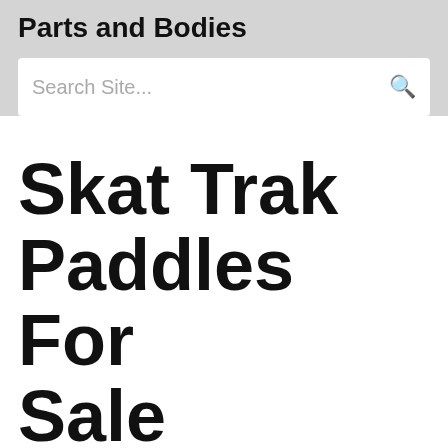Parts and Bodies
[Figure (other): Search site input box with placeholder text 'Search Site...' and a search magnifying glass icon on the right]
Skat Trak Paddles For Sale